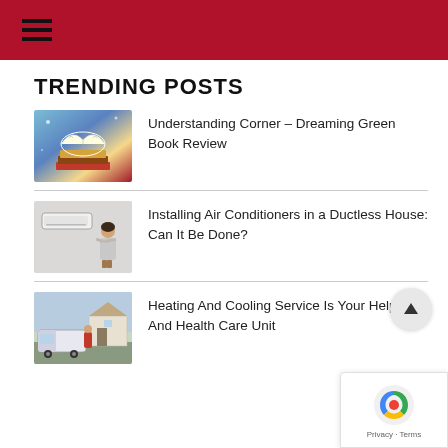Menu / Navigation header bar
TRENDING POSTS
[Figure (photo): Open book with colorful pages floating above stacked books on a blue/fantasy background]
Understanding Corner – Dreaming Green Book Review
[Figure (photo): Woman pointing at a ductless mini-split air conditioner mounted on a wall]
Installing Air Conditioners in a Ductless House: Can It Be Done?
[Figure (photo): Service van parked outside a house with a technician standing nearby]
Heating And Cooling Service Is Your Help Unit And Health Care Unit